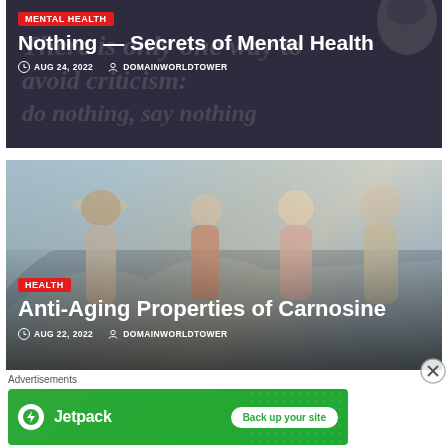[Figure (photo): Article card with dark background showing text overlay 'There is only one way to avoid criticism: do nothing, say nothing'. Category tag MENTAL HEALTH in red. White bold title 'Nothing — Secrets of Mental Health'. Date AUG 24, 2022 and author DOMAINWORLDTOWER.]
[Figure (photo): Article card showing group of happy older adults on a beach. Category tag HEALTH in red. White bold title 'Anti-Aging Properties of Carnosine'. Date AUG 22, 2022 and author DOMAINWORLDTOWER.]
Advertisements
[Figure (other): Jetpack advertisement banner on green background. Shows Jetpack logo (lightning bolt icon) with text 'Jetpack' and a white button 'Back up your site'.]